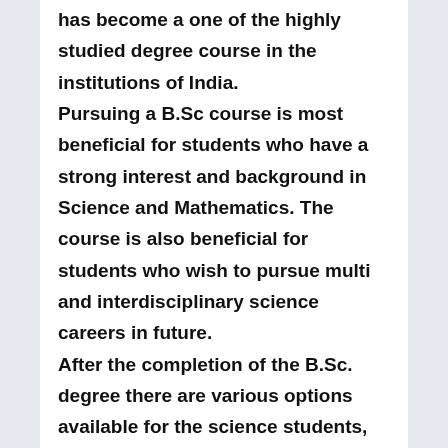has become a one of the highly studied degree course in the institutions of India. Pursuing a B.Sc course is most beneficial for students who have a strong interest and background in Science and Mathematics. The course is also beneficial for students who wish to pursue multi and interdisciplinary science careers in future. After the completion of the B.Sc. degree there are various options available for the science students, they can go for master degree in